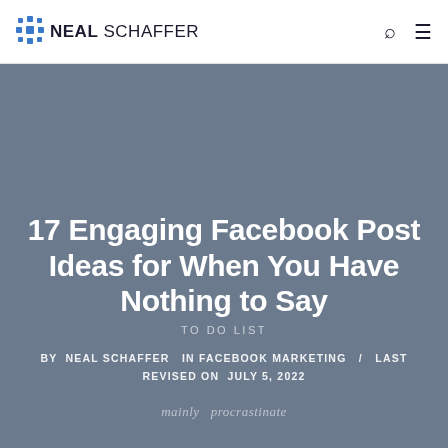NEAL SCHAFFER
17 Engaging Facebook Post Ideas for When You Have Nothing to Say
TO DO LIST
BY NEAL SCHAFFER  IN FACEBOOK MARKETING  /  LAST REVISED ON  JULY 5, 2022
mainly procrastinate